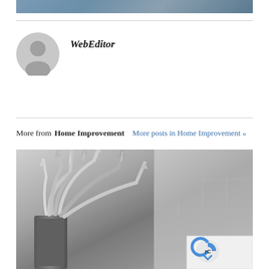[Figure (photo): Partial top image, cropped, showing outdoor scene]
WebEditor
More from Home Improvement  More posts in Home Improvement »
[Figure (photo): Close-up photo of metal hex key (Allen wrench) set with pointed spikes arranged in a holder]